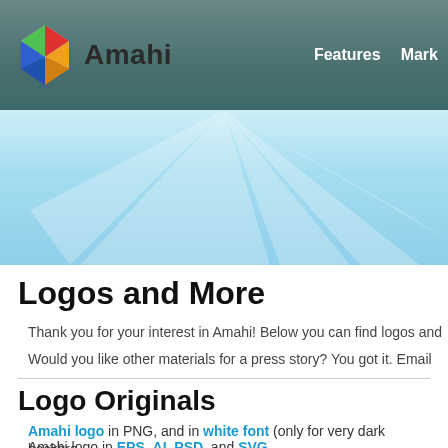[Figure (logo): Amahi navigation bar with colorful 3D diamond/gem logo and text 'Amahi', with navigation links 'Features' and 'Mark']
[Figure (illustration): Light blue hero banner with ray/sunburst effect]
Logos and More
Thank you for your interest in Amahi! Below you can find logos and
Would you like other materials for a press story? You got it. Email
Logo Originals
Amahi logo in PNG, and in white font (only for very dark backgro…
Amahi logo in EPS, AI, PSD, and SVG
Amahi dice in PNG, EPS, AI, PSD, and SVG